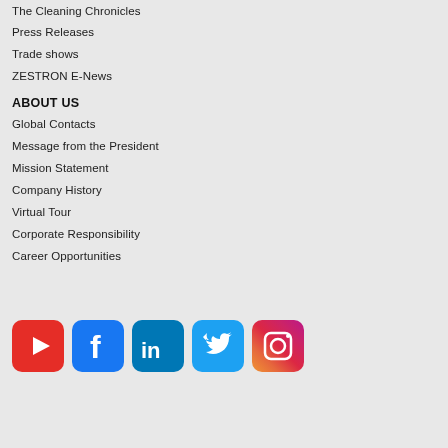The Cleaning Chronicles
Press Releases
Trade shows
ZESTRON E-News
ABOUT US
Global Contacts
Message from the President
Mission Statement
Company History
Virtual Tour
Corporate Responsibility
Career Opportunities
[Figure (logo): Social media icons: YouTube, Facebook, LinkedIn, Twitter, Instagram]